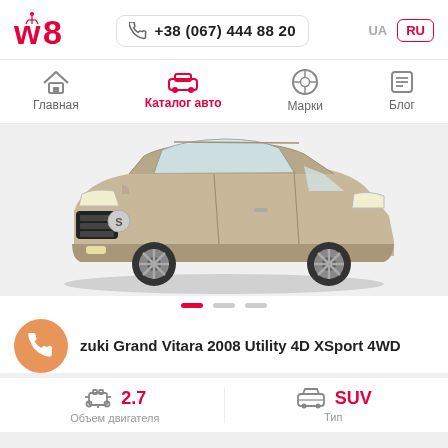w8
+38 (067) 444 88 20
UA RU
Главная
Каталог авто
Марки
Блог
[Figure (photo): Suzuki Grand Vitara 2008 SUV, gold/silver metallic color, front 3/4 view on white background]
zuki Grand Vitara 2008 Utility 4D XSport 4WD
2.7
Объем двигателя
SUV
Тип